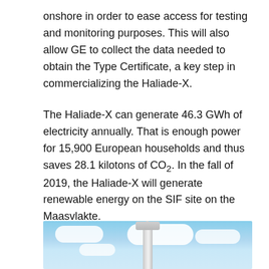onshore in order to ease access for testing and monitoring purposes. This will also allow GE to collect the data needed to obtain the Type Certificate, a key step in commercializing the Haliade-X.
The Haliade-X can generate 46.3 GWh of electricity annually. That is enough power for 15,900 European households and thus saves 28.1 kilotons of CO₂. In the fall of 2019, the Haliade-X will generate renewable energy on the SIF site on the Maasvlakte.
[Figure (photo): Photograph of a wind turbine tower and nacelle against a bright blue sky with white clouds. The structure is seen from below looking upward, showing the top of the tower and partial blade.]